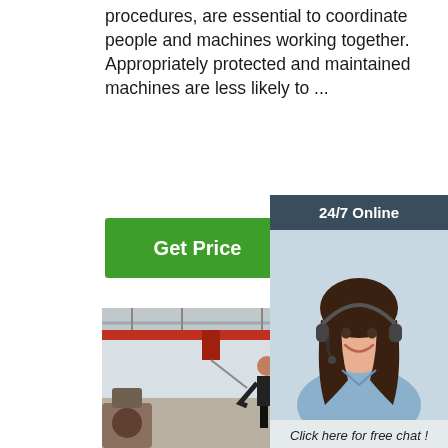procedures, are essential to coordinate people and machines working together. Appropriately protected and maintained machines are less likely to ...
[Figure (other): Green 'Get Price' button]
[Figure (other): 24/7 Online chat widget with woman wearing headset, 'Click here for free chat!' text, and orange QUOTATION button]
[Figure (photo): Factory floor photo showing a worker operating large industrial machinery with overhead crane structure visible]